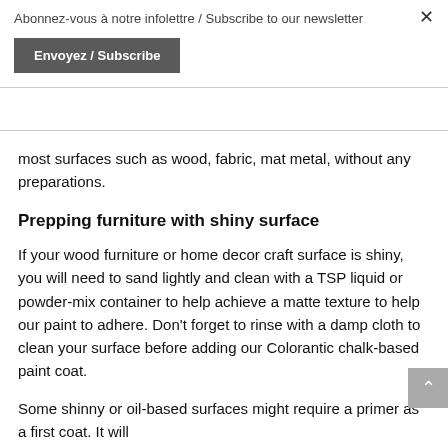Abonnez-vous à notre infolettre / Subscribe to our newsletter
Envoyez / Subscribe
most surfaces such as wood, fabric, mat metal, without any preparations.
Prepping furniture with shiny surface
If your wood furniture or home decor craft surface is shiny, you will need to sand lightly and clean with a TSP liquid or powder-mix container to help achieve a matte texture to help our paint to adhere. Don't forget to rinse with a damp cloth to clean your surface before adding our Colorantic chalk-based paint coat.
Some shinny or oil-based surfaces might require a primer as a first coat. It will